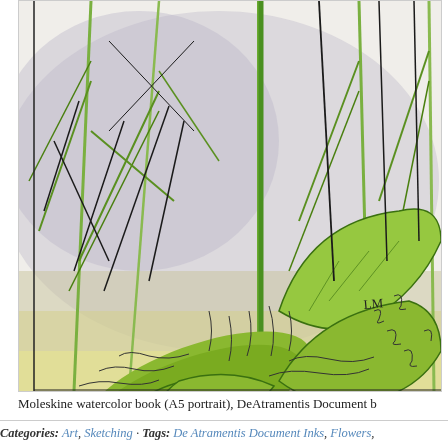[Figure (illustration): Watercolor and ink botanical illustration showing large broad green leaves and tall grass-like stems with fine line sketching, artist signature 'LM' visible, painted on white paper with gray and yellow-green washes at the base suggesting ground. Partial view, cropped at right and top edges.]
Moleskine watercolor book (A5 portrait), DeAtramentis Document b
Categories: Art, Sketching - Tags: De Atramentis Document Inks, Flowers,